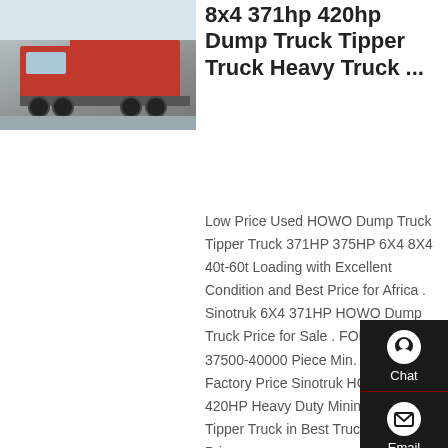[Figure (photo): Red dump truck parked outdoors on pavement, front-side view]
8x4 371hp 420hp Dump Truck Tipper Truck Heavy Truck ...
Low Price Used HOWO Dump Truck Tipper Truck 371HP 375HP 6X4 8X4 40t-60t Loading with Excellent Condition and Best Price for Africa . Sinotruk 6X4 371HP HOWO Dump Truck Price for Sale . FOB Price: US 37500-40000 Piece Min. Order Factory Price Sinotruk HOWO 70t 420HP Heavy Duty Mining Dump Tipper Truck in Best Truck and Best Price ...